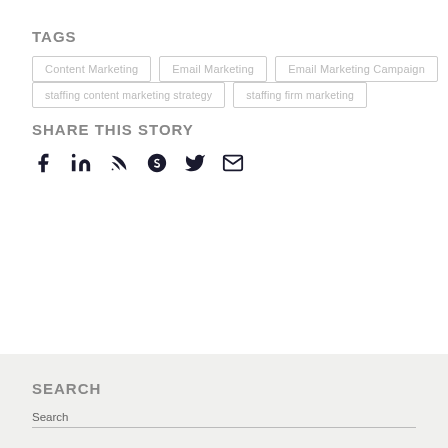TAGS
Content Marketing
Email Marketing
Email Marketing Campaign
staffing content marketing strategy
staffing firm marketing
SHARE THIS STORY
[Figure (infographic): Social sharing icons: Facebook, LinkedIn, RSS, Skype, Twitter, Email]
SEARCH
Search